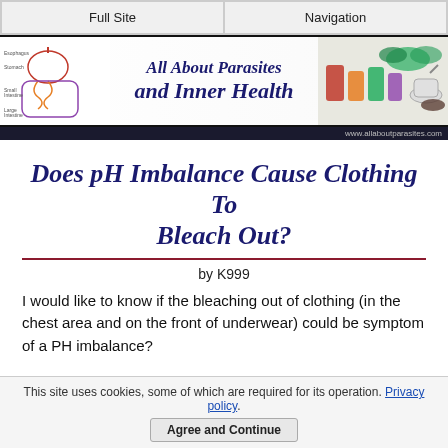Full Site | Navigation
[Figure (illustration): Website banner for 'All About Parasites and Inner Health' with digestive system diagram on left, site title in center, and herbs/juices on right]
www.allaboutparasites.com
Does pH Imbalance Cause Clothing To Bleach Out?
by K999
I would like to know if the bleaching out of clothing (in the chest area and on the front of underwear) could be symptom of a PH imbalance?
This site uses cookies, some of which are required for its operation. Privacy policy. Agree and Continue